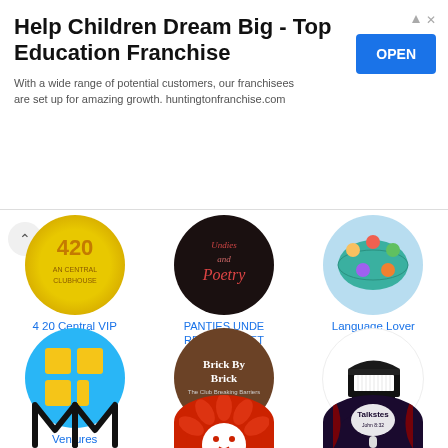[Figure (infographic): Advertisement banner: Help Children Dream Big - Top Education Franchise with OPEN button]
Help Children Dream Big - Top Education Franchise
With a wide range of potential customers, our franchisees are set up for amazing growth. huntingtonfranchise.com
[Figure (logo): 4 20 Central VIP - gold circular logo]
4 20 Central VIP
[Figure (logo): PANTIES UNDERPANTSnPOETRY - dark circular book cover logo]
PANTIES UNDERPANTSnPOETRY
[Figure (logo): Language Lovers Club - world map with children illustration]
Language Lovers Club
[Figure (logo): Ventures - blue circle with yellow tetromino grid pieces]
Ventures
[Figure (logo): Brick by Brick - dark brown circle with book cover]
Brick by Brick
[Figure (logo): Country music club - grand piano illustration on white circle]
Country music club
[Figure (logo): MM logo - two M-shaped arches in black on white]
[Figure (logo): Red circle with white lion illustration]
[Figure (logo): Talksters - dark purple circle with speech bubble logo]